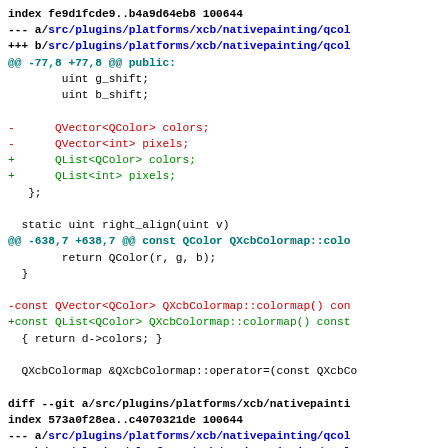index fe9d1fcde9..b4a9d64eb8 100644
--- a/src/plugins/platforms/xcb/nativepainting/qcol
+++ b/src/plugins/platforms/xcb/nativepainting/qcol
@@ -77,8 +77,8 @@ public:
        uint g_shift;
        uint b_shift;

-      QVector<QColor> colors;
-      QVector<int> pixels;
+      QList<QColor> colors;
+      QList<int> pixels;
   };

  static uint right_align(uint v)
@@ -638,7 +638,7 @@ const QColor QXcbColormap::colo
        return QColor(r, g, b);
  }

-const QVector<QColor> QXcbColormap::colormap() con
+const QList<QColor> QXcbColormap::colormap() const
  { return d->colors; }

  QXcbColormap &QXcbColormap::operator=(const QXcbCo

diff --git a/src/plugins/platforms/xcb/nativepainti
index 573a0f28ea..c4070321de 100644
--- a/src/plugins/platforms/xcb/nativepainting/qcol
+++ b/src/plugins/platforms/xcb/nativepainting/qcol
@@ -41,7 +41,7 @@
 #define QCOLORMAP_X11_H